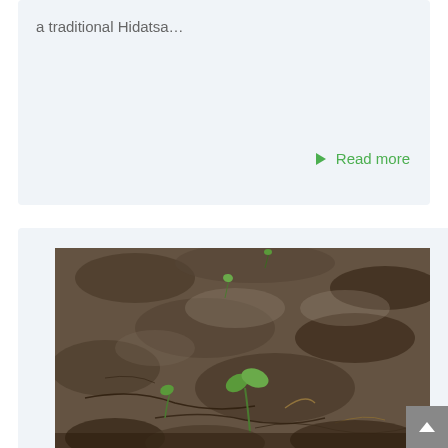a traditional Hidatsa…
▶ Read more
[Figure (photo): Close-up photograph of small seedlings emerging from dry, cracked dark soil in a field. Several tiny green sprouts and leaves are visible among the rough, arid earth.]